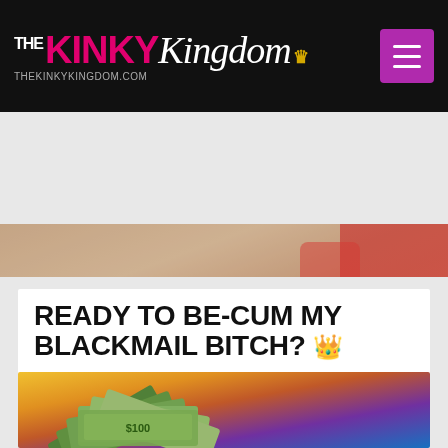THE KINKY Kingdom | THEKINKYKINGDOM.COM
[Figure (photo): Hero banner image showing a person in red lingerie, cropped torso view]
READY TO BE-CUM MY BLACKMAIL BITCH? 👑
[Figure (photo): Image of fanned out US hundred dollar bills against a colorful background with yellow, red, and blue bokeh]